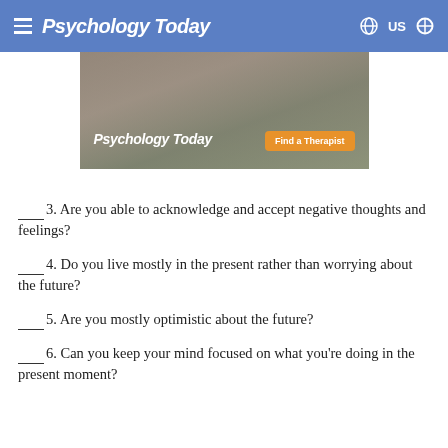Psychology Today
[Figure (photo): Psychology Today advertisement banner with a person wearing a grey t-shirt and denim jacket outdoors. Text reads 'Psychology Today' with an orange 'Find a Therapist' button.]
____3. Are you able to acknowledge and accept negative thoughts and feelings?
____4. Do you live mostly in the present rather than worrying about the future?
____5. Are you mostly optimistic about the future?
____6. Can you keep your mind focused on what you're doing in the present moment?